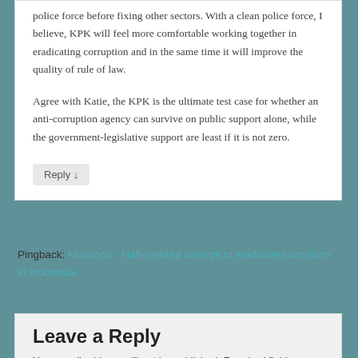police force before fixing other sectors. With a clean police force, I believe, KPK will feel more comfortable working together in eradicating corruption and in the same time it will improve the quality of rule of law.
Agree with Katie, the KPK is the ultimate test case for whether an anti-corruption agency can survive on public support alone, while the government-legislative support are least if it is not zero.
Reply ↓
Pingback: Monsoon - Half-hearted attempt to eradicate corruption in Indonesia
Leave a Reply
Your email address will not be published. Required fields are marked *